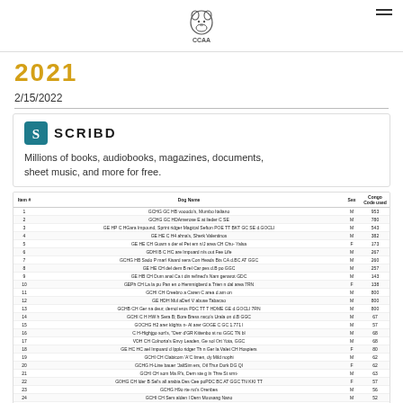[Figure (logo): CCAA dog logo with text CCAA]
2021
2/15/2022
[Figure (screenshot): Scribd logo and tagline: Millions of books, audiobooks, magazines, documents, sheet music, and more for free.]
| Item # | Dog Name | Sex | Congo Code used |
| --- | --- | --- | --- |
| 1 | GCHG GC HB vooodo's Mumbo Italiano | M | 953 |
| 2 | GCHG GC HDAmerose E at lieder C SE | M | 780 |
| 3 | GE HP C HGara Impound, Sprint ridger Magical Sefton POE TT BKT GC SE d.GOCLI | M | 543 |
| 4 | GE HE C H4 ahna's, Sherk Valentinos | M | 382 |
| 5 | GE HE CH Guarn s der el Pet em n/J area CH Chu- Yalsa | F | 173 |
| 6 | GDHI B C H C are Impuard n/s out Fee  Life | M | 267 |
| 7 | GCHG HB Sado P marl Kisard sera Con Heads Bts CA d.BC AT GGC | M | 260 |
| 8 | GE HE CH del dem B rel Car pes d.B po GGC | M | 257 |
| 9 | GE HB  CH Dum anal Ca t din refined's Nam genarot GDC | M | 143 |
| 10 | GEPh CH La la pu Pan en o Hemmigberd a Trien n dal area 7RN | F | 138 |
| 11 | GCHI CH Creebro a Caren C area d.am on | M | 800 |
| 12 | GE HDH Mul aDerl V abuse Tabacso | M | 800 |
| 13 | GCHB CH Ger na deur, demol eros PDC TT T HDME GE d.GOCLI 7RN | M | 800 |
| 14 | GCHI C H HW h Sera B; Bore Bress nsco's Urala on  d.B GGC | M | 67 |
| 15 | GOCHG H2 arer klights n- Al arer GOGE C GC 1.771 l | M | 57 |
| 16 | C H-Highjgo sort's, "Derr d'GR Kittenbo st nu GGC TN bl | M | 68 |
| 17 | VDH CH Colnorta's Envy Leaden, Ge sol Ort Yota, GGC | M | 68 |
| 18 | GE HC HC ael Impuard d Ipplo ridger Th n Ger la Valet CH Hospiers | F | 80 |
| 19 | GCHI CH Clabicom 'A'C limen, dy  Mild nophi | M | 62 |
| 20 | GCHG H-Line bauer 'JaliSim ers, Oil Thur Durk DG QI | F | 62 |
| 21 | GCHI CH som Ma R's, Dern ste g ln Thre St srnt- | M | 63 |
| 22 | GOHG CH Ider B Sel's all arabia Des Cee poPDC BC AT GGC TN KKI TT | F | 57 |
| 23 | GCHG H9o rte rut's Orenbes | M | 56 |
| 24 | GCHI CH Sers alden I Dern Muusang Nano | M | 52 |
| 25 | GE HC H9Gerns lerman C atr-adi Nies | M | 51 |
| 26 | GCHI CH Kesuckels mat's.Mom er mary CH Crumsar chi | M | 47 |
| 27 | GDHI H-High Pe sort's, Na ala s/Ginnam C KE T KN | M | 43 |
| 28 | GE HB  CHle deem Adobe Spin n's, Pr amiger Ro edi mize BGA T | M | 39 |
| 29 | C HS la ur Pr mmso Blederd's Pr ns araDGGT  GGC d.GOCLI 7RN | F | 34 |
| 30 | GCHI CH Palencer la  Junior r | M | 38 |
| 31 | GE HE C H-He nemia lorem ax | M | 37 |